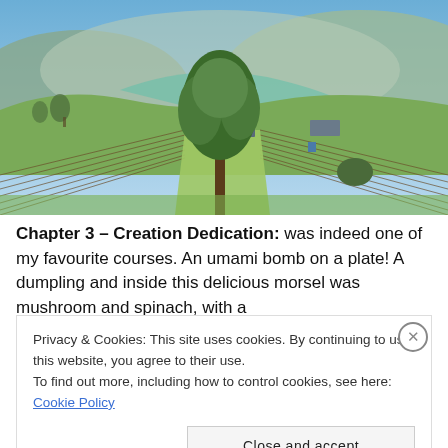[Figure (photo): Vineyard landscape with rows of bare grapevines, a large tree in the center, green grass pathways, farm buildings in the background, and hills/mountains behind under a clear blue sky.]
Chapter 3 – Creation Dedication: was indeed one of my favourite courses. An umami bomb on a plate! A dumpling and inside this delicious morsel was mushroom and spinach, with a
Privacy & Cookies: This site uses cookies. By continuing to use this website, you agree to their use.
To find out more, including how to control cookies, see here: Cookie Policy
Close and accept